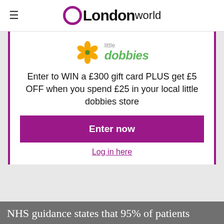OLondonWorld
[Figure (logo): Little Dobbies logo with yellow flower and green italic text]
Enter to WIN a £300 gift card PLUS get £5 OFF when you spend £25 in your local little dobbies store
Enter now
Log in here
NHS guidance states that 95% of patients